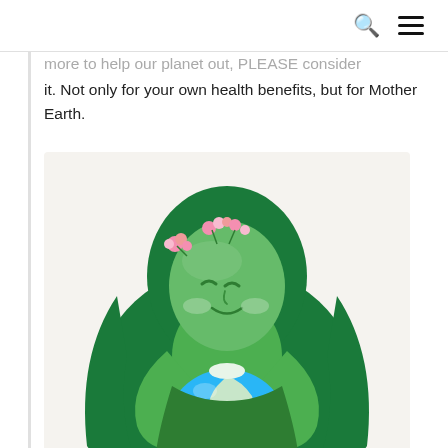[search icon] [menu icon]
…more to help our planet out, PLEASE consider it. Not only for your own health benefits, but for Mother Earth.
[Figure (illustration): Cartoon illustration of Mother Earth depicted as a green-skinned woman with long flowing dark green hair and a flower crown, lovingly embracing a blue and green globe of the Earth against a light beige background.]